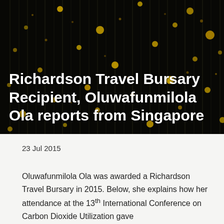[Figure (photo): Dark background photo with gold/yellow bokeh light streaks falling vertically, resembling rain of golden light points against a black background.]
Richardson Travel Bursary Recipient, Oluwafunmilola Ola reports from Singapore
23 Jul 2015
Oluwafunmilola Ola was awarded a Richardson Travel Bursary in 2015. Below, she explains how her attendance at the 13th International Conference on Carbon Dioxide Utilization gave